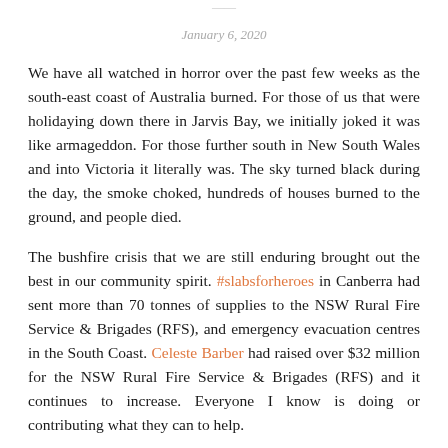January 6, 2020
We have all watched in horror over the past few weeks as the south-east coast of Australia burned. For those of us that were holidaying down there in Jarvis Bay, we initially joked it was like armageddon. For those further south in New South Wales and into Victoria it literally was. The sky turned black during the day, the smoke choked, hundreds of houses burned to the ground, and people died.
The bushfire crisis that we are still enduring brought out the best in our community spirit. #slabsforheroes in Canberra had sent more than 70 tonnes of supplies to the NSW Rural Fire Service & Brigades (RFS), and emergency evacuation centres in the South Coast. Celeste Barber had raised over $32 million for the NSW Rural Fire Service & Brigades (RFS) and it continues to increase. Everyone I know is doing or contributing what they can to help.